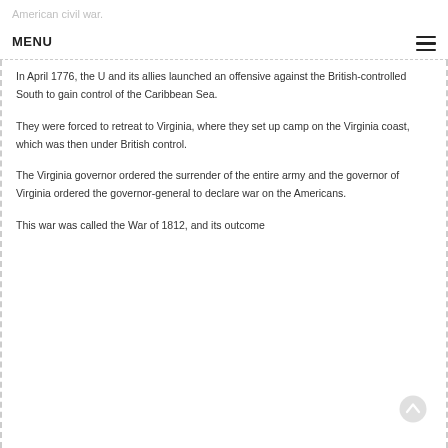American civil war.
MENU
In April 1776, the U and its allies launched an offensive against the British-controlled South to gain control of the Caribbean Sea.
They were forced to retreat to Virginia, where they set up camp on the Virginia coast, which was then under British control.
The Virginia governor ordered the surrender of the entire army and the governor of Virginia ordered the governor-general to declare war on the Americans.
This war was called the War of 1812, and its outcome